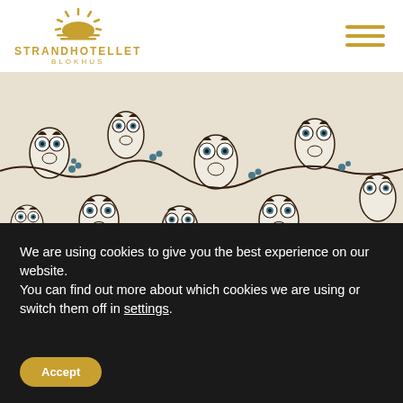[Figure (logo): Strandhotellet Blokhus logo with golden sun/rays icon and text]
[Figure (photo): Close-up photo of an owl-patterned wallpaper in white, teal, and dark brown colors, with white tile wainscoting at the bottom]
We are using cookies to give you the best experience on our website.
You can find out more about which cookies we are using or switch them off in settings.
Accept